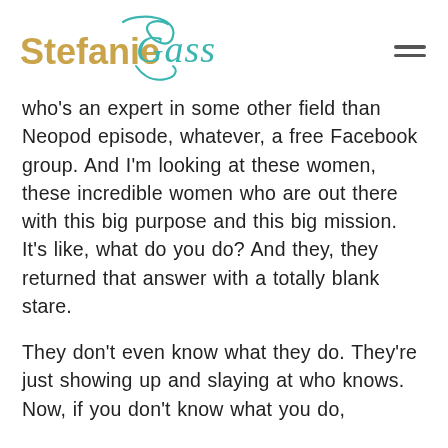Stefanie Gass
who's an expert in some other field than Neopod episode, whatever, a free Facebook group. And I'm looking at these women, these incredible women who are out there with this big purpose and this big mission. It's like, what do you do? And they, they returned that answer with a totally blank stare.
They don't even know what they do. They're just showing up and slaying at who knows. Now, if you don't know what you do,